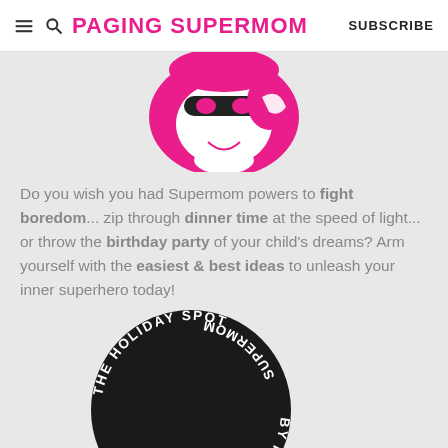PAGING SUPERMOM  SUBSCRIBE
[Figure (illustration): Pink Supermom mascot character — top half of a cartoon woman with a mask and cape, in hot pink color]
Do you wish you had Supermom powers to fight boredom... zip through dinner time at the speed of light... or throw the birthday party of your child's dreams? Arm yourself with the easiest & best ideas to unleash your inner superhero today!
[Figure (logo): Black circular badge with white text reading THE HOLIDAY SPOT BY PAGING SUPERMOM arranged in a circle]